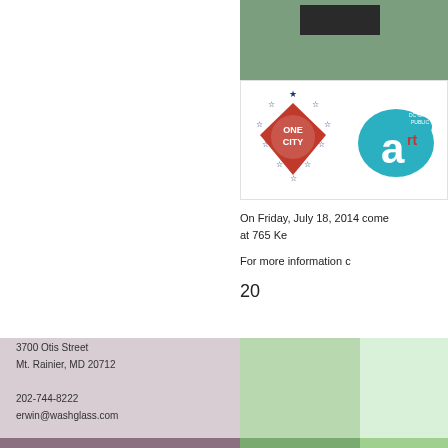[Figure (illustration): Green band at top right with dark rectangle, below which are two logos: One City (DC kite shape with stars) and an arts organization logo with letter 'a' on teal splash]
On Friday, July 18, 2014 come at 765 Ke
For more information c
20
Posted in 'washington glass studio', american glass, DC Comm
3700 Otis Street
Mt. Rainier, MD 20712

202-744-8222
erwin@washglass.com